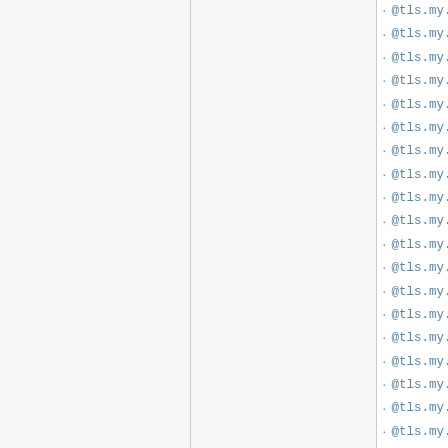@tls.my.subj.state
@tls.my.subj.stateOrProvinceName
@tls.my.subj.state_or_province_...
@tls.my.subj.unit
@tls.my.subject
@tls.my.subject.c
@tls.my.subject.cn
@tls.my.subject.commonName
@tls.my.subject.common_name
@tls.my.subject.country
@tls.my.subject.countryName
@tls.my.subject.country_name
@tls.my.subject.l
@tls.my.subject.locality
@tls.my.subject.localityName
@tls.my.subject.locality_name
@tls.my.subject.name
@tls.my.subject.o
@tls.my.subject.organization
@tls.my.subject.organizationName
@tls.my.subject.organization_na...
@tls.my.subject.organizationalUn...
@tls.my.subject.organizational_u...
@tls.my.subject.ou
@tls.my.subject.st
@tls.my.subject.state
@tls.my.subject.stateOrProvince...